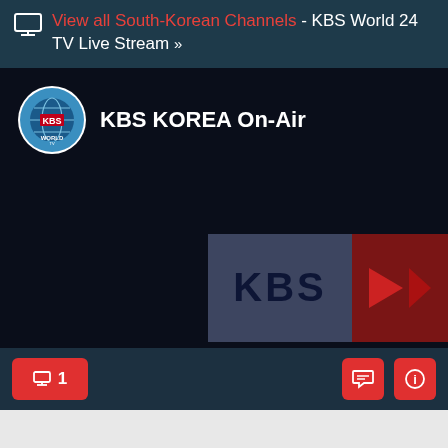View all South-Korean Channels - KBS World 24 TV Live Stream »
[Figure (screenshot): KBS World TV live stream player showing KBS KOREA On-Air with KBS World logo, dark video frame with KBS broadcast logo and play button graphic, and player controls bar with viewer count (1), chat and info buttons]